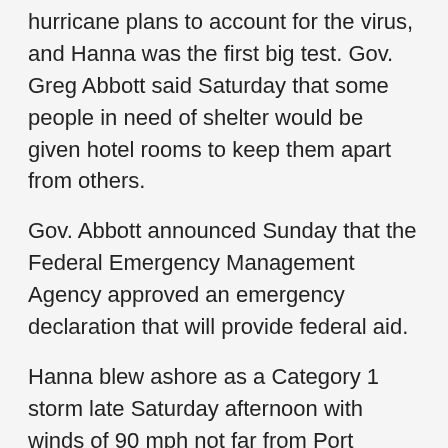hurricane plans to account for the virus, and Hanna was the first big test. Gov. Greg Abbott said Saturday that some people in need of shelter would be given hotel rooms to keep them apart from others.
Gov. Abbott announced Sunday that the Federal Emergency Management Agency approved an emergency declaration that will provide federal aid.
Hanna blew ashore as a Category 1 storm late Saturday afternoon with winds of 90 mph not far from Port Mansfield, which is about 130 miles south of Corpus Christi.
Myrle Tucker tried to ride out the storm in a powerboat docked in a Corpus Christi marina. But winds and rain blew out the vessel's windows. Eventually rescuers in a dinghy were able to reach him and bring him to shore.